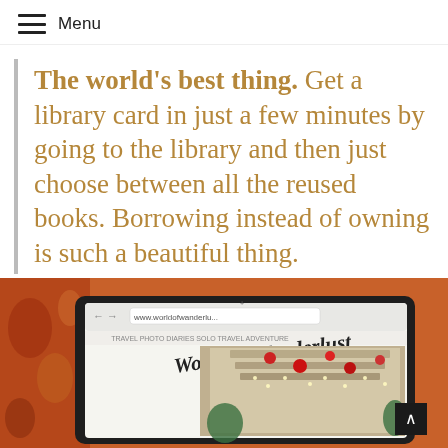Menu
The world's best thing. Get a library card in just a few minutes by going to the library and then just choose between all the reused books. Borrowing instead of owning is such a beautiful thing.
[Figure (photo): A tablet device lying on an ornate red/orange patterned surface, displaying the 'World of Wanderlust' travel blog website in a Chrome browser, with a Christmas-decorated indoor scene visible on the screen. A dark scroll-to-top button is visible in the bottom right corner.]